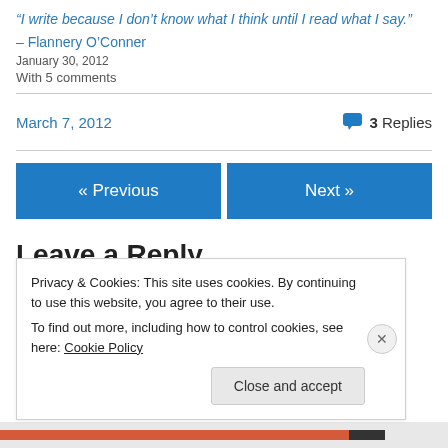“I write because I don’t know what I think until I read what I say.” – Flannery O’Conner
January 30, 2012
With 5 comments
March 7, 2012
3 Replies
« Previous
Next »
Leave a Reply
Privacy & Cookies: This site uses cookies. By continuing to use this website, you agree to their use.
To find out more, including how to control cookies, see here: Cookie Policy